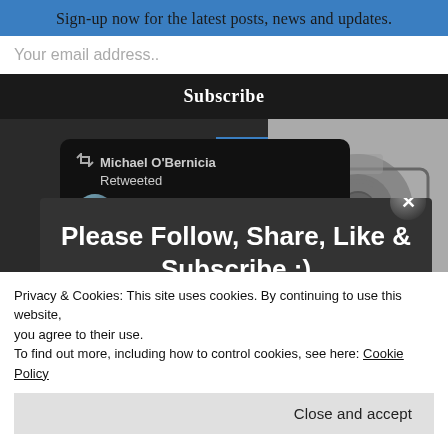Sign-up now for the latest posts, news and updates.
Your email address..
Subscribe
[Figure (screenshot): Twitter/X retweet card showing Michael O'Bernicia Retweeted and Gonzalo ... with Twitter bird icon, over dark background with partial camera photo visible]
Please Follow, Share, Like & Subscribe :)
[Figure (infographic): Row of social media icons: RSS, Facebook, Twitter, YouTube, Instagram, Telegram, and others]
Privacy & Cookies: This site uses cookies. By continuing to use this website, you agree to their use.
To find out more, including how to control cookies, see here: Cookie Policy
Close and accept